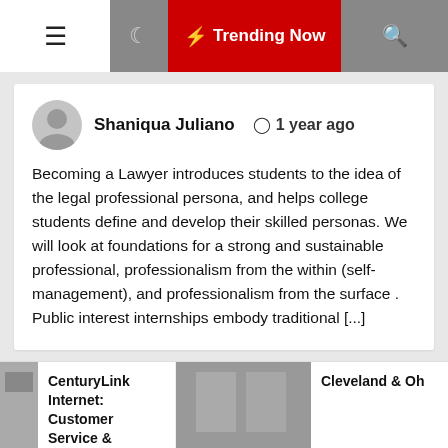☰  🌙  ⚡ Trending Now  🔍
Shaniqua Juliano  🕐 1 year ago
Becoming a Lawyer introduces students to the idea of the legal professional persona, and helps college students define and develop their skilled personas. We will look at foundations for a strong and sustainable professional, professionalism from the within (self-management), and professionalism from the surface . Public interest internships embody traditional [...]
[Figure (photo): Interior of a professional law office with large windows overlooking water, wooden desk with leather chairs, hardwood floors]
CenturyLink Internet: Customer Service & Support
Cleveland & Oh